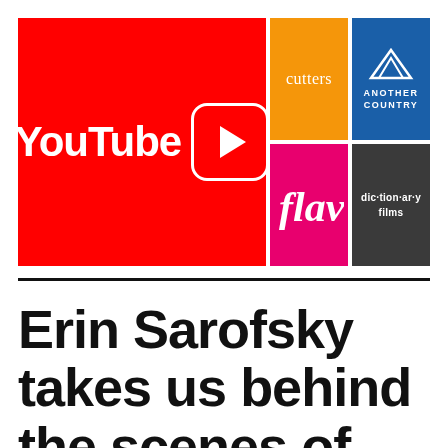[Figure (logo): Composite logo grid featuring YouTube (red background with white YouTube text and play button icon), Cutters (orange background), Another Country (blue background with mountain/triangle logo), Flavor (pink/magenta background with script text), and dic·tion·ar·y films (dark gray background with bold text)]
Erin Sarofsky takes us behind the scenes of